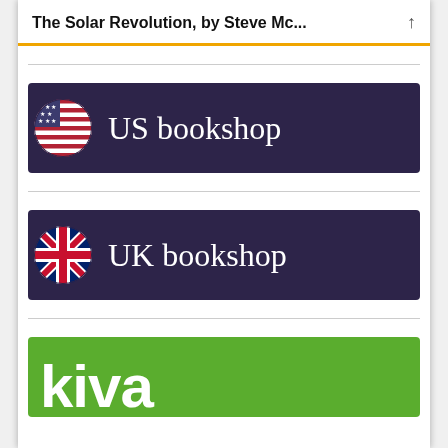The Solar Revolution, by Steve Mc...
[Figure (logo): US bookshop banner with US flag circle and white text on dark purple background]
[Figure (logo): UK bookshop banner with UK flag circle and white text on dark purple background]
[Figure (logo): Kiva banner with large white bold text on green background, partially visible]